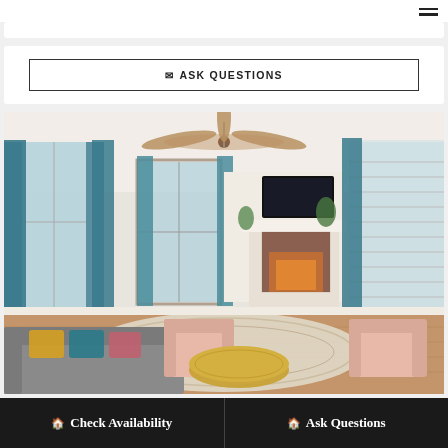[Figure (screenshot): Website page with hamburger menu icon in top right corner]
[Figure (other): White card/panel with a bordered button reading '✉ ASK QUESTIONS']
[Figure (photo): Interior living room photo showing a bright room with blue curtains, a ceiling fan, a brick fireplace with wall-mounted TV, pink armchairs, a gold coffee table, colorful throw pillows on a gray sofa, and a patterned area rug on hardwood floors]
🏠 Check Availability
🏠 Ask Questions